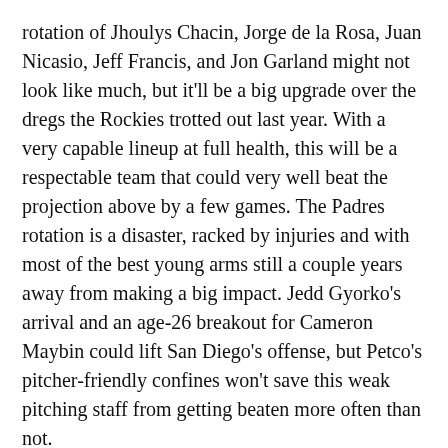rotation of Jhoulys Chacin, Jorge de la Rosa, Juan Nicasio, Jeff Francis, and Jon Garland might not look like much, but it'll be a big upgrade over the dregs the Rockies trotted out last year. With a very capable lineup at full health, this will be a respectable team that could very well beat the projection above by a few games. The Padres rotation is a disaster, racked by injuries and with most of the best young arms still a couple years away from making a big impact. Jedd Gyorko's arrival and an age-26 breakout for Cameron Maybin could lift San Diego's offense, but Petco's pitcher-friendly confines won't save this weak pitching staff from getting beaten more often than not.
PLAYOFF PREDICTIONS
We'll repeat the same caveat every year: The playoffs are a crapshoot. The 93-win Cardinals of 2006 that everyone will